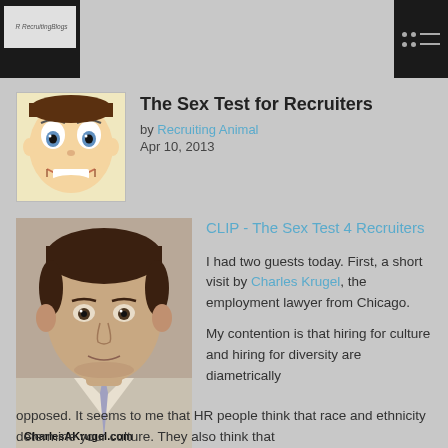R RecruitingBlogs | [menu icon]
[Figure (photo): Cartoon puppet/ventriloquist dummy avatar image]
The Sex Test for Recruiters
by Recruiting Animal
Apr 10, 2013
[Figure (photo): Photo of a man (Charles Krugel) with text overlay CharlesAKrugel.com]
CLIP - The Sex Test 4 Recruiters
I had two guests today. First, a short visit by Charles Krugel, the employment lawyer from Chicago.
My contention is that hiring for culture and hiring for diversity are diametrically opposed. It seems to me that HR people think that race and ethnicity determine your culture. They also think that